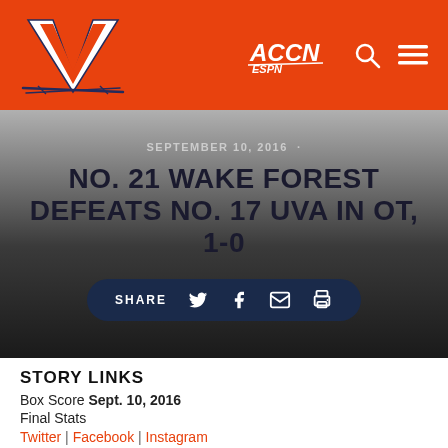[Figure (logo): University of Virginia V sabers logo on orange header with ACCN ESPN logo, search icon, and hamburger menu]
SEPTEMBER 10, 2016
NO. 21 WAKE FOREST DEFEATS NO. 17 UVA IN OT, 1-0
SHARE (with Twitter, Facebook, Email, Print icons)
STORY LINKS
Box Score Sept. 10, 2016
Final Stats
Twitter | Facebook | Instagram
WINSTON-SALEM, N.C. ÃfÂ¢Ã¢'Â¬" Hayden Partain's